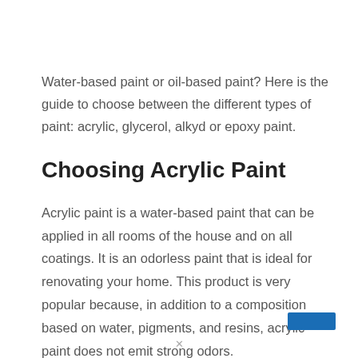Water-based paint or oil-based paint? Here is the guide to choose between the different types of paint: acrylic, glycerol, alkyd or epoxy paint.
Choosing Acrylic Paint
Acrylic paint is a water-based paint that can be applied in all rooms of the house and on all coatings. It is an odorless paint that is ideal for renovating your home. This product is very popular because, in addition to a composition based on water, pigments, and resins, acrylic paint does not emit strong odors.